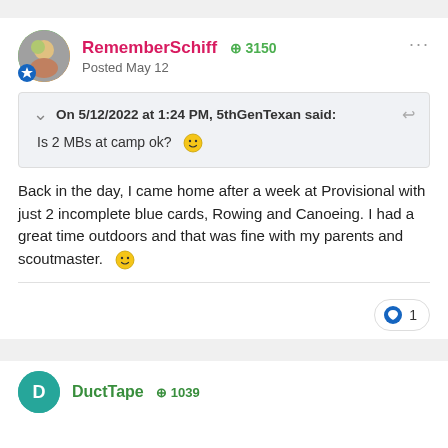RememberSchiff  +3150  Posted May 12
On 5/12/2022 at 1:24 PM, 5thGenTexan said:
Is 2 MBs at camp ok? 🙂
Back in the day, I came home after a week at Provisional with just 2 incomplete blue cards, Rowing and Canoeing. I had a great time outdoors and that was fine with my parents and scoutmaster. 🙂
DuctTape  +1039